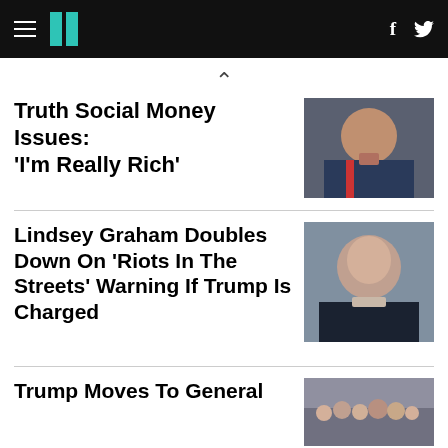HuffPost navigation
^
Truth Social Money Issues: 'I'm Really Rich'
[Figure (photo): Photo of Donald Trump in suit with red tie]
Lindsey Graham Doubles Down On 'Riots In The Streets' Warning If Trump Is Charged
[Figure (photo): Close-up photo of Lindsey Graham looking up]
Trump Moves To General
[Figure (photo): Crowd scene photo]